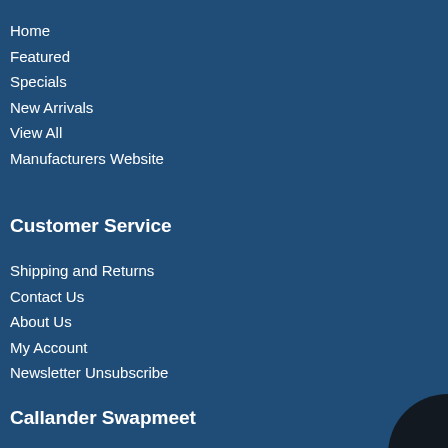Home
Featured
Specials
New Arrivals
View All
Manufacturers Website
Customer Service
Shipping and Returns
Contact Us
About Us
My Account
Newsletter Unsubscribe
Callander Swapmeet